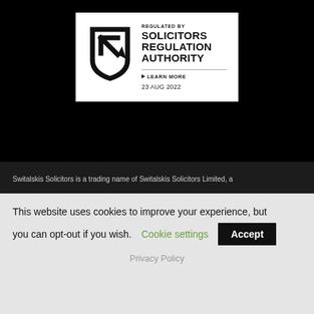[Figure (logo): SRA (Solicitors Regulation Authority) badge with shield/arrow logo, text 'REGULATED BY SOLICITORS REGULATION AUTHORITY', 'LEARN MORE', and date '23 AUG 2022']
SRA Licence number 614622
Switalskis Solicitors is a trading name of Switalskis Solicitors Limited, a
This website uses cookies to improve your experience, but you can opt-out if you wish.  Cookie settings  Accept
Privacy Policy